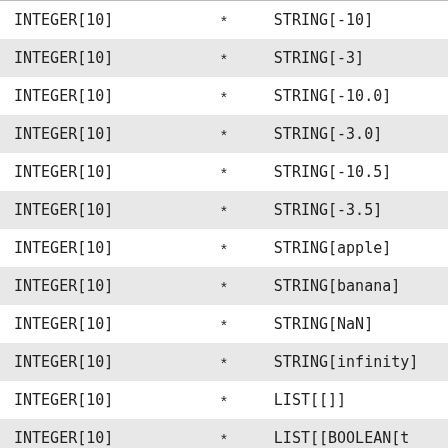| INTEGER[10] | * | STRING[-10] |
| INTEGER[10] | * | STRING[-3] |
| INTEGER[10] | * | STRING[-10.0] |
| INTEGER[10] | * | STRING[-3.0] |
| INTEGER[10] | * | STRING[-10.5] |
| INTEGER[10] | * | STRING[-3.5] |
| INTEGER[10] | * | STRING[apple] |
| INTEGER[10] | * | STRING[banana] |
| INTEGER[10] | * | STRING[NaN] |
| INTEGER[10] | * | STRING[infinity] |
| INTEGER[10] | * | LIST[[]] |
| INTEGER[10] | * | LIST[[BOOLEAN[t |